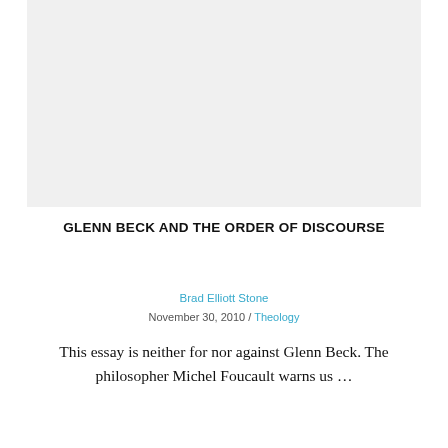[Figure (other): Light gray rectangular image placeholder area at the top of the page]
GLENN BECK AND THE ORDER OF DISCOURSE
Brad Elliott Stone
November 30, 2010 / Theology
This essay is neither for nor against Glenn Beck. The philosopher Michel Foucault warns us …